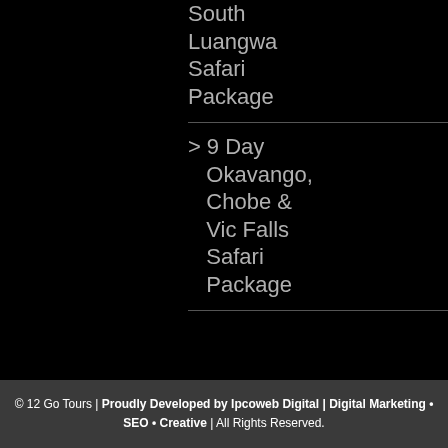South Luangwa Safari Package
9 Day Okavango, Chobe & Vic Falls Safari Package
© 12 Go Tours | Proudly Developed by Ipcoweb Digital | Digital Marketing • SEO • Creative | All Rights Reserved.